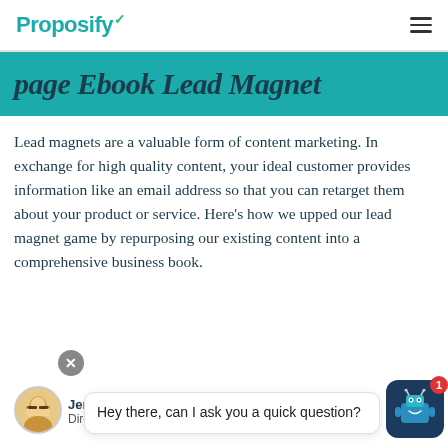Proposify
page Ebook Lead Magnet
Lead magnets are a valuable form of content marketing. In exchange for high quality content, your ideal customer provides information like an email address so that you can retarget them about your product or service. Here’s how we upped our lead magnet game by repurposing our existing content into a comprehensive business book.
[Figure (other): Chat widget overlay with close button, chat bubble saying 'Hey there, can I ask you a quick question?', author avatar, author name 'Jennifer', title 'Director of Communications', and robot chatbot icon with notification badge '1']